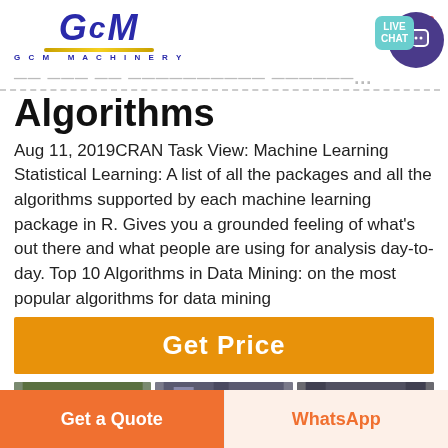[Figure (logo): GCM Machinery logo with stylized GCM letters in dark blue italic, gold underline bar, and 'GCM MACHINERY' text below]
Algorithms
Aug 11, 2019CRAN Task View: Machine Learning Statistical Learning: A list of all the packages and all the algorithms supported by each machine learning package in R. Gives you a grounded feeling of what's out there and what people are using for analysis day-to-day. Top 10 Algorithms in Data Mining: on the most popular algorithms for data mining
[Figure (other): Orange Get Price button]
[Figure (photo): Three industrial machinery photos side by side]
[Figure (other): Bottom bar with Get a Quote orange button and WhatsApp button]